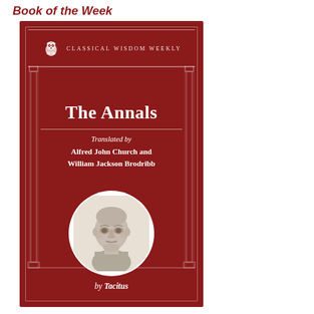Book of the Week
[Figure (illustration): Book cover for 'The Annals' translated by Alfred John Church and William Jackson Brodribb, by Tacitus. Published by Classical Wisdom Weekly. Dark red cover with white decorative columns, an owl logo, a circular portrait of a Roman bust, and white serif text.]